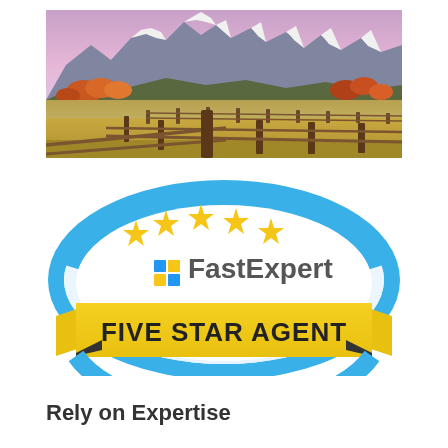[Figure (photo): Mountain landscape with snow-capped peaks under purple-pink sky, autumn-colored trees and golden meadow with wooden split-rail fence in foreground]
[Figure (logo): FastExpert Five Star Agent badge: circular badge with blue arc border, five gold stars across the top, FastExpert logo with blue grid icon and text, yellow ribbon banner at bottom reading FIVE STAR AGENT in bold dark text]
Rely on Expertise